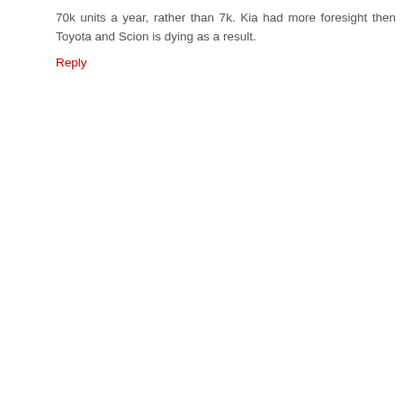70k units a year, rather than 7k. Kia had more foresight then Toyota and Scion is dying as a result.
Reply